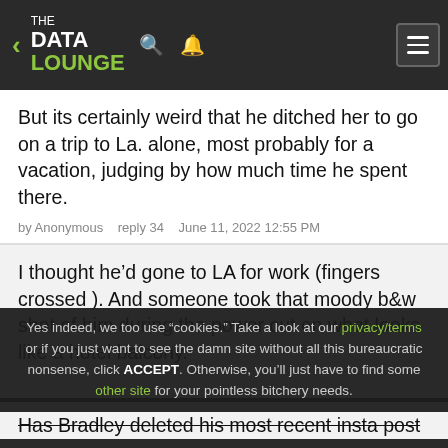THE DATA LOUNGE
But its certainly weird that he ditched her to go on a trip to La. alone, most probably for a vacation, judging by how much time he spent there.
by Anonymous   reply 34   June 11, 2022 12:55 PM
I thought he'd gone to LA for work (fingers crossed ). And someone took that moody b&w shot of him during the power cut on what looks like a hotel balcony.
Yes indeed, we too use "cookies." Take a look at our privacy/terms or if you just want to see the damn site without all this bureaucratic nonsense, click ACCEPT. Otherwise, you'll just have to find some other site for your pointless bitchery needs.
Has Bradley deleted his most recent insta post
REPLY   ▲   ▼   UNREAD